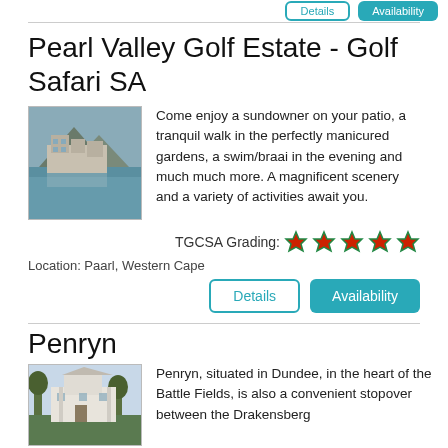Pearl Valley Golf Estate - Golf Safari SA
[Figure (photo): Exterior photo of Pearl Valley Golf Estate showing buildings reflected in water with mountain backdrop]
Come enjoy a sundowner on your patio, a tranquil walk in the perfectly manicured gardens, a swim/braai in the evening and much much more. A magnificent scenery and a variety of activities await you.
TGCSA Grading: ★★★★★
Location: Paarl, Western Cape
Penryn
[Figure (photo): Exterior photo of Penryn property showing white building with trees]
Penryn, situated in Dundee, in the heart of the Battle Fields, is also a convenient stopover between the Drakensberg